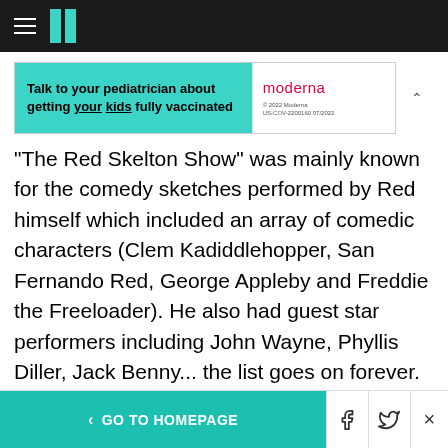HuffPost navigation bar with hamburger menu and logo
[Figure (other): Advertisement banner: 'Talk to your pediatrician about getting your kids fully vaccinated' with Moderna logo. © 2022 Moderna US-COV-2200160 07/2022]
"The Red Skelton Show" was mainly known for the comedy sketches performed by Red himself which included an array of comedic characters (Clem Kadiddlehopper, San Fernando Red, George Appleby and Freddie the Freeloader). He also had guest star performers including John Wayne, Phyllis Diller, Jack Benny... the list goes on forever. His opening monologue often included his two favorite seagulls, Gertrude and Heathcliff. At the end of each show, he ended it
< GO TO HOMEPAGE | Facebook | Twitter | X